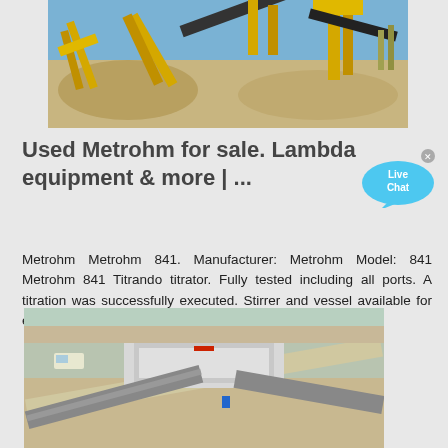[Figure (photo): Aerial or ground-level view of yellow industrial mining/quarry conveyor and crushing equipment on sandy ground with blue sky]
Used Metrohm for sale. Lambda equipment & more | ...
Metrohm Metrohm 841. Manufacturer: Metrohm Model: 841 Metrohm 841 Titrando titrator. Fully tested including all ports. A titration was successfully executed. Stirrer and vessel available for extra fee, contact for quote.
[Figure (photo): Aerial view of industrial conveyor belt equipment and machinery on dirt/sand terrain with vehicles nearby]